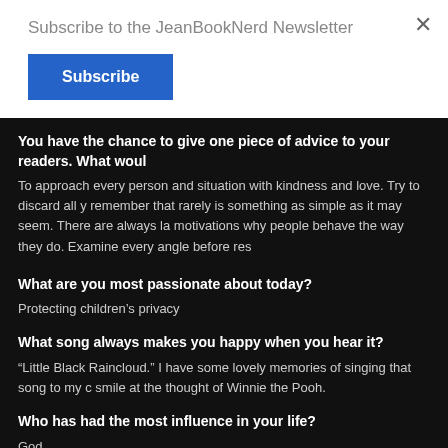Subscribe to the JeanBookNerd Newsletter
Subscribe
×
You have the chance to give one piece of advice to your readers. What woul
To approach every person and situation with kindness and love. Try to discard all y remember that rarely is something as simple as it may seem. There are always la motivations why people behave the way they do. Examine every angle before res
What are you most passionate about today?
Protecting children's privacy
What song always makes you happy when you hear it?
“Little Black Raincloud.” I have some lovely memories of singing that song to my c smile at the thought of Winnie the Pooh.
Who has had the most influence in your life?
God.
[Figure (photo): Partially visible dark image in bottom right area]